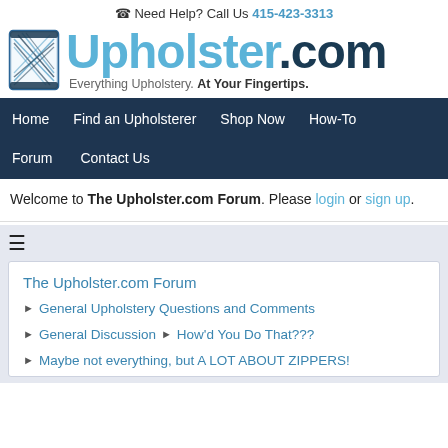Need Help? Call Us 415-423-3313
[Figure (logo): Upholster.com logo with thread spool icon and tagline 'Everything Upholstery. At Your Fingertips.']
Home
Find an Upholsterer
Shop Now
How-To
Forum
Contact Us
Welcome to The Upholster.com Forum. Please login or sign up.
The Upholster.com Forum
► General Upholstery Questions and Comments
► General Discussion ► How'd You Do That???
► Maybe not everything, but A LOT ABOUT ZIPPERS!